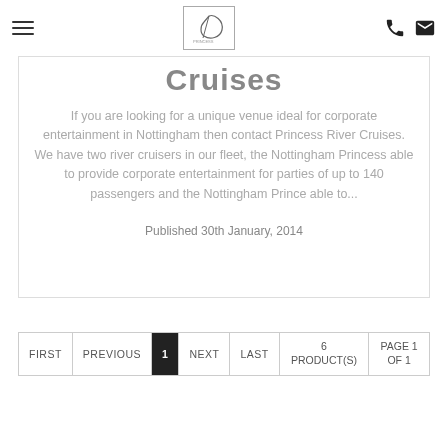Princess River Cruises — navigation header with hamburger menu, logo, phone and email icons
Cruises
If you are looking for a unique venue ideal for corporate entertainment in Nottingham then contact Princess River Cruises.
We have two river cruisers in our fleet, the Nottingham Princess able to provide corporate entertainment for parties of up to 140 passengers and the Nottingham Prince able to...
Published 30th January, 2014
FIRST  PREVIOUS  1  NEXT  LAST  6 PRODUCT(S)  PAGE 1 OF 1